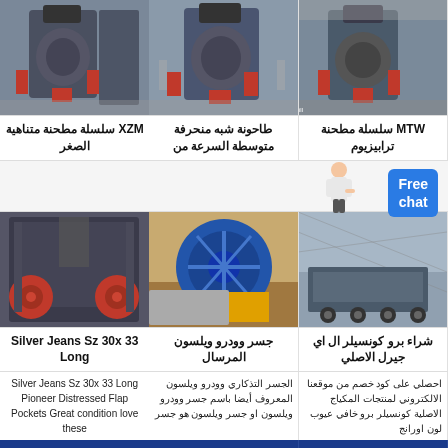[Figure (photo): MTW trapezium mill machine - gray industrial grinding equipment]
[Figure (photo): Medium speed trapezoid mill machine in factory]
[Figure (photo): XZM ultra-fine mill series machine]
MTW سلسلة مطحنة ترابيزيوم
طاحونة شبه منحرفة متوسطة السرعة من
XZM سلسلة مطحنة متناهية الصغر
[Figure (photo): Mobile crushing and screening plant in industrial hall]
[Figure (photo): Sand washing machine with large blue wheel]
[Figure (photo): Cone crusher machine with red flywheels]
شراء برو كونسيلر ال اي جيرل الاصلي
جسر وودرو ويلسون المرسال
Silver Jeans Sz 30x 33 Long
احصلي على كود خصم من موقعنا الالكتروني لمنتجات المكياج الاصلية كونسيلر برو خافي عيوب لون اورانج
الجسر التذكاري وودرو ويلسون المعروف أيضا باسم جسر وودرو ويلسون او جسر ويلسون هو جسر
Silver Jeans Sz 30x 33 Long Pioneer Distressed Flap Pockets Great condition love these
احصل على
احصل على
احصل على